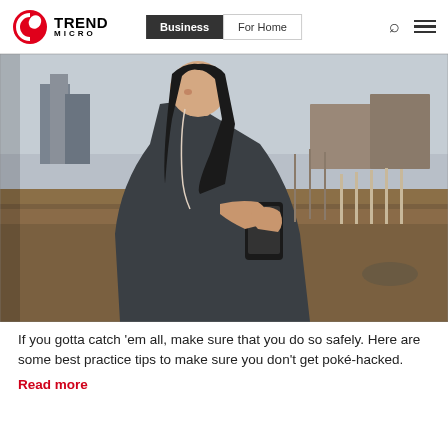Trend Micro | Business | For Home
[Figure (photo): Young woman with long dark hair looking down at her smartphone, standing outdoors in a vacant field with urban buildings in the background. She is wearing a dark grey hoodie.]
If you gotta catch 'em all, make sure that you do so safely. Here are some best practice tips to make sure you don't get poké-hacked.
Read more